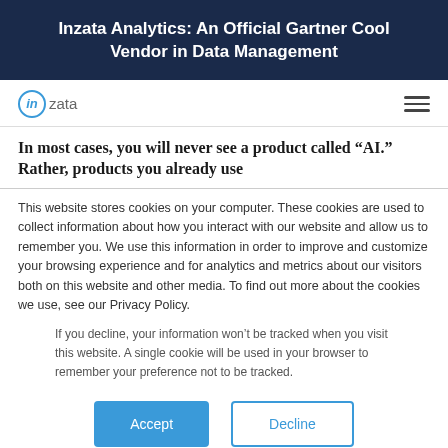Inzata Analytics: An Official Gartner Cool Vendor in Data Management
[Figure (logo): Inzata logo with 'in' in a blue circle and 'zata' text, plus hamburger menu icon]
In most cases, you will never see a product called “AI.” Rather, products you already use
This website stores cookies on your computer. These cookies are used to collect information about how you interact with our website and allow us to remember you. We use this information in order to improve and customize your browsing experience and for analytics and metrics about our visitors both on this website and other media. To find out more about the cookies we use, see our Privacy Policy.
If you decline, your information won’t be tracked when you visit this website. A single cookie will be used in your browser to remember your preference not to be tracked.
Accept  Decline